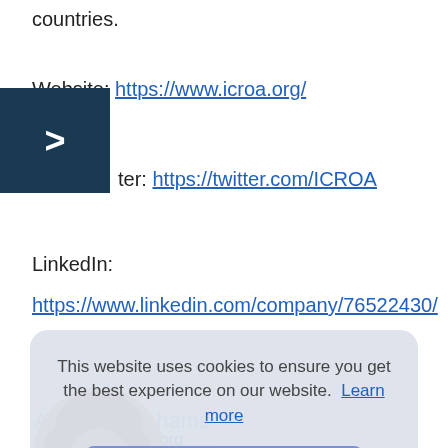countries.
Website: https://www.icroa.org/
Twitter: https://twitter.com/ICROA
LinkedIn:
https://www.linkedin.com/company/76522430/
[Figure (photo): Circular headshot photo of a woman with short curly brown hair]
This website uses cookies to ensure you get the best experience on our website. Learn more
Got it!
Andrea Abrahams
ICROA Managing Director
abranams@ieta.org